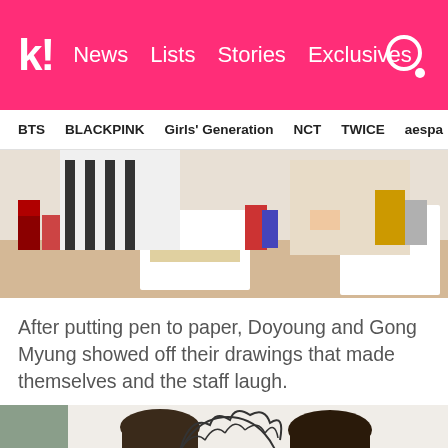k! News Lists Stories Exclusives
BTS  BLACKPINK  Girls' Generation  NCT  TWICE  aespa
[Figure (photo): Two people drawing at a desk with colorful robot toys and art supplies scattered around]
After putting pen to paper, Doyoung and Gong Myung showed off their drawings that made themselves and the staff laugh.
[Figure (photo): Two young men holding up sketchbooks with cartoon face drawings; a large cartoon face drawing is visible between them on white background]